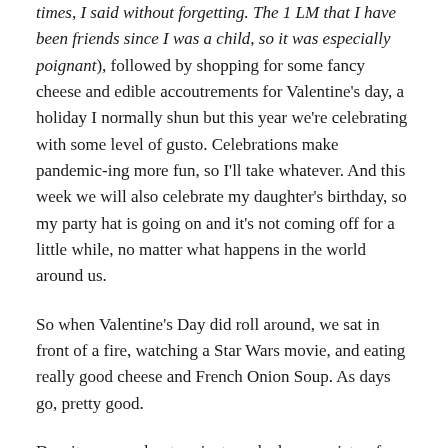times, I said without forgetting. The 1 LM that I have been friends since I was a child, so it was especially poignant), followed by shopping for some fancy cheese and edible accoutrements for Valentine's day, a holiday I normally shun but this year we're celebrating with some level of gusto. Celebrations make pandemic-ing more fun, so I'll take whatever. And this week we will also celebrate my daughter's birthday, so my party hat is going on and it's not coming off for a little while, no matter what happens in the world around us.
So when Valentine's Day did roll around, we sat in front of a fire, watching a Star Wars movie, and eating really good cheese and French Onion Soup. As days go, pretty good.
Despite worry about variants and a large variety of other political, social and environmental crises, I've decided to feel hopeful about vaccines and the future.